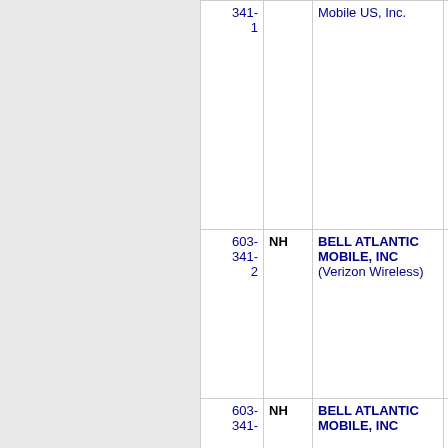| Number | State | Name | Code |
| --- | --- | --- | --- |
| 341-
1 | NH | Mobile US, Inc. |  |
| 603-
341-
2 | NH | BELL ATLANTIC MOBILE, INC (Verizon Wireless) | 6386 |
| 603-
341- | NH | BELL ATLANTIC MOBILE, INC | 6386 |